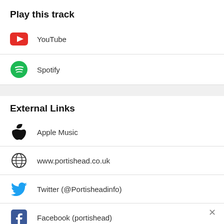Play this track
YouTube
Spotify
External Links
Apple Music
www.portishead.co.uk
Twitter (@Portisheadinfo)
Facebook (portishead)